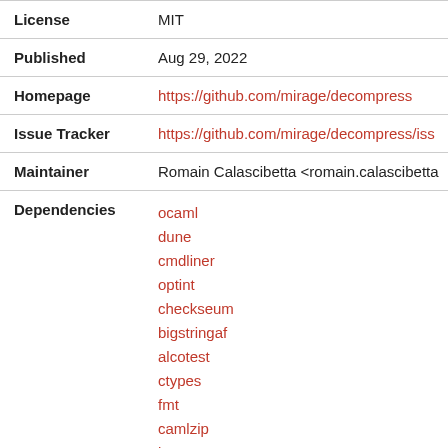| Field | Value |
| --- | --- |
| License | MIT |
| Published | Aug 29, 2022 |
| Homepage | https://github.com/mirage/decompress |
| Issue Tracker | https://github.com/mirage/decompress/iss… |
| Maintainer | Romain Calascibetta <romain.calascibetta… |
| Dependencies | ocaml
dune
cmdliner
optint
checkseum
bigstringaf
alcotest
ctypes
fmt
camlzip
base64
crowbar |